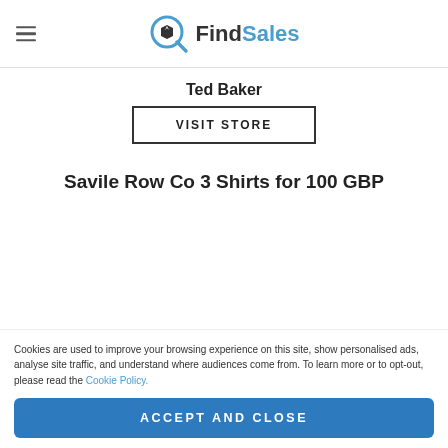FindSales
Ted Baker
VISIT STORE
Savile Row Co 3 Shirts for 100 GBP
Cookies are used to improve your browsing experience on this site, show personalised ads, analyse site traffic, and understand where audiences come from. To learn more or to opt-out, please read the Cookie Policy.
ACCEPT AND CLOSE